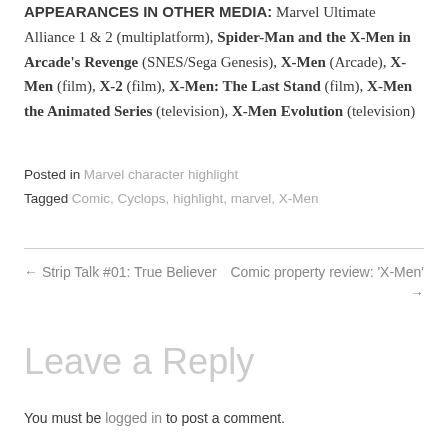APPEARANCES IN OTHER MEDIA: Marvel Ultimate Alliance 1 & 2 (multiplatform), Spider-Man and the X-Men in Arcade's Revenge (SNES/Sega Genesis), X-Men (Arcade), X-Men (film), X-2 (film), X-Men: The Last Stand (film), X-Men the Animated Series (television), X-Men Evolution (television)
Posted in Marvel character highlight
Tagged Comic, Cyclops, highlight, marvel, X-Men
← Strip Talk #01: True Believer   Comic property review: 'X-Men' →
Leave a Reply
You must be logged in to post a comment.